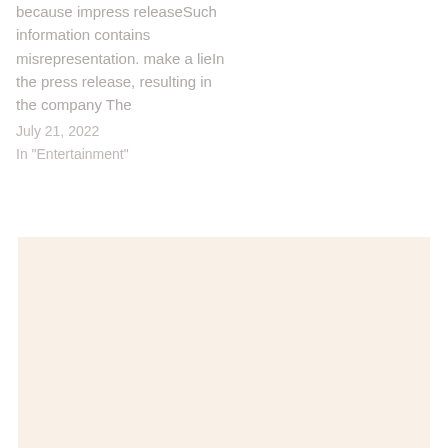because impress releaseSuch information contains misrepresentation. make a lieIn the press release, resulting in the company The
July 21, 2022
In "Entertainment"
[Figure (other): Beige/cream colored rectangular box filling the lower portion of the page]